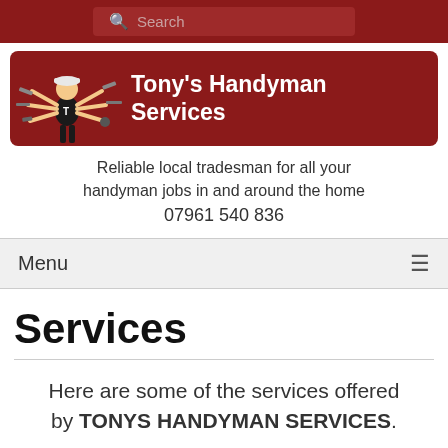Search
[Figure (logo): Tony's Handyman Services logo banner with a cartoon handyman figure with multiple arms holding tools, on a dark red background]
Tony's Handyman Services
Reliable local tradesman for all your handyman jobs in and around the home
07961 540 836
Menu
Services
Here are some of the services offered by TONYS HANDYMAN SERVICES.